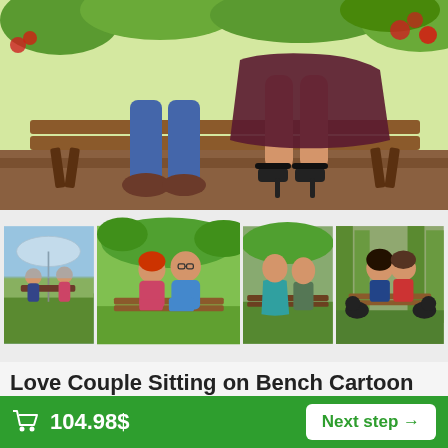[Figure (illustration): Main hero image showing a cartoon couple sitting on a park bench - lower body view, man in blue jeans and brown shoes on left, woman in dark dress and black heels on right, with green foliage background]
[Figure (illustration): Row of four thumbnail cartoon illustrations: 1) couple under umbrella by lake, 2) couple sitting on bench in park with trees, 3) couple on bench one in teal dress, 4) couple with two black dogs on bench in forest]
Love Couple Sitting on Bench Cartoon from Photo with Custom Background
104.98$
Looking for a romantic gift for your significant other
104.98$  Next step →